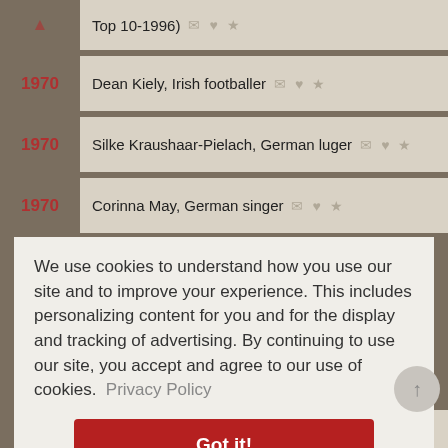1970 Top 10-1996)
1970 Dean Kiely, Irish footballer
1970 Silke Kraushaar-Pielach, German luger
1970 Corinna May, German singer
We use cookies to understand how you use our site and to improve your experience. This includes personalizing content for you and for the display and tracking of advertising. By continuing to use our site, you accept and agree to our use of cookies. Privacy Policy
1970 Safak Sezer, G.O.R.A.